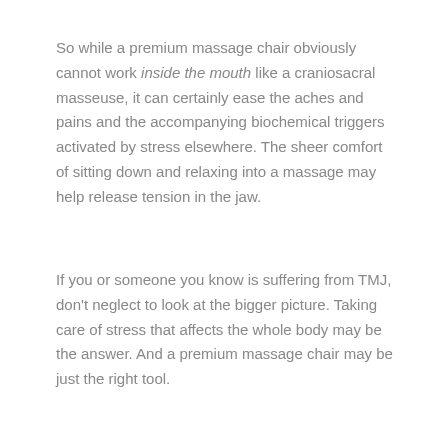So while a premium massage chair obviously cannot work inside the mouth like a craniosacral masseuse, it can certainly ease the aches and pains and the accompanying biochemical triggers activated by stress elsewhere. The sheer comfort of sitting down and relaxing into a massage may help release tension in the jaw.
If you or someone you know is suffering from TMJ, don't neglect to look at the bigger picture. Taking care of stress that affects the whole body may be the answer. And a premium massage chair may be just the right tool.